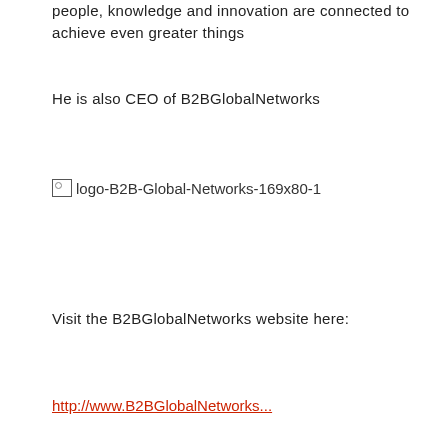people, knowledge and innovation are connected to achieve even greater things
He is also CEO of B2BGlobalNetworks
[Figure (logo): Broken image placeholder showing alt text: logo-B2B-Global-Networks-169x80-1]
Visit the B2BGlobalNetworks website here:
http://www.B2BGlobalNetworks...